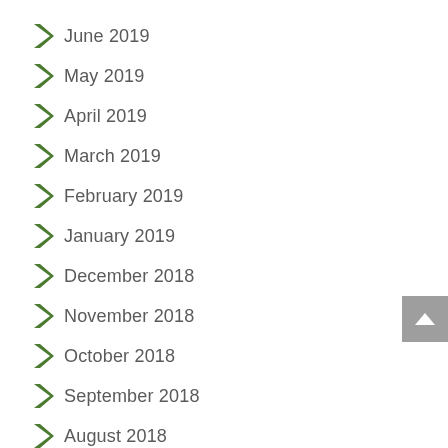June 2019
May 2019
April 2019
March 2019
February 2019
January 2019
December 2018
November 2018
October 2018
September 2018
August 2018